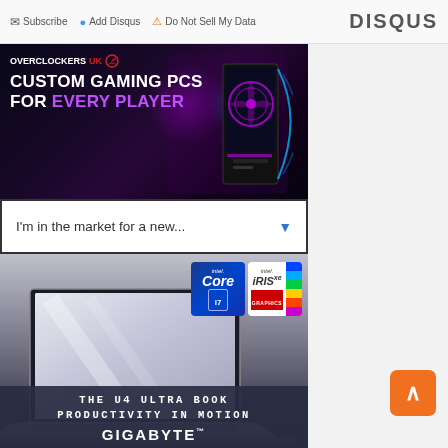Subscribe  Add Disqus  Do Not Sell My Data   DISQUS
[Figure (photo): Overclockers UK advertisement for custom gaming PCs. Dark purple background with glowing neon gaming PC. Text reads: OVERCLOCKERS UK | CUSTOM GAMING PCS FOR EVERY PLAYER]
I'm in the market for a new...
[Figure (photo): Gigabyte U4 Ultra Book advertisement. Shows a sleek silver laptop with Intel Core i7 and Intel Iris Xe Graphics badges. Text reads: THE U4 ULTRA BOOK PRODUCTIVITY IN MOTION | GIGABYTE]
[Figure (photo): Partial view of another advertisement at the bottom, partially cut off, blue tones.]